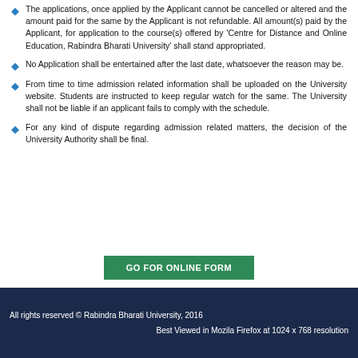The applications, once applied by the Applicant cannot be cancelled or altered and the amount paid for the same by the Applicant is not refundable. All amount(s) paid by the Applicant, for application to the course(s) offered by 'Centre for Distance and Online Education, Rabindra Bharati University' shall stand appropriated.
No Application shall be entertained after the last date, whatsoever the reason may be.
From time to time admission related information shall be uploaded on the University website. Students are instructed to keep regular watch for the same. The University shall not be liable if an applicant fails to comply with the schedule.
For any kind of dispute regarding admission related matters, the decision of the University Authority shall be final.
GO FOR ONLINE FORM
All rights reserved © Rabindra Bharati University, 2016
Best Viewed in Mozila Firefox at 1024 x 768 resolution